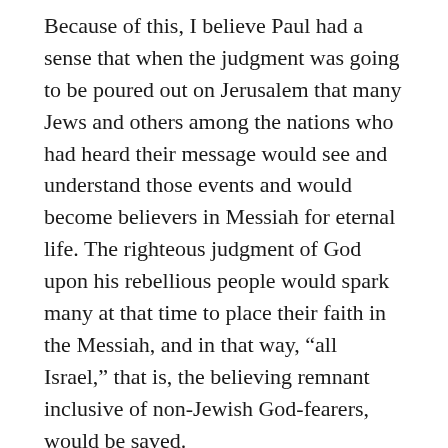Because of this, I believe Paul had a sense that when the judgment was going to be poured out on Jerusalem that many Jews and others among the nations who had heard their message would see and understand those events and would become believers in Messiah for eternal life. The righteous judgment of God upon his rebellious people would spark many at that time to place their faith in the Messiah, and in that way, “all Israel,” that is, the believing remnant inclusive of non-Jewish God-fearers, would be saved.
This is why at the end of his discourse on this concept in Romans 9-11, Paul could exclaim: